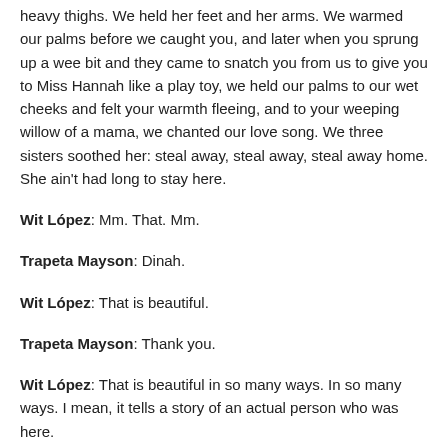heavy thighs. We held her feet and her arms. We warmed our palms before we caught you, and later when you sprung up a wee bit and they came to snatch you from us to give you to Miss Hannah like a play toy, we held our palms to our wet cheeks and felt your warmth fleeing, and to your weeping willow of a mama, we chanted our love song. We three sisters soothed her: steal away, steal away, steal away home. She ain't had long to stay here.
Wit López: Mm. That. Mm.
Trapeta Mayson: Dinah.
Wit López: That is beautiful.
Trapeta Mayson: Thank you.
Wit López: That is beautiful in so many ways. In so many ways. I mean, it tells a story of an actual person who was here.